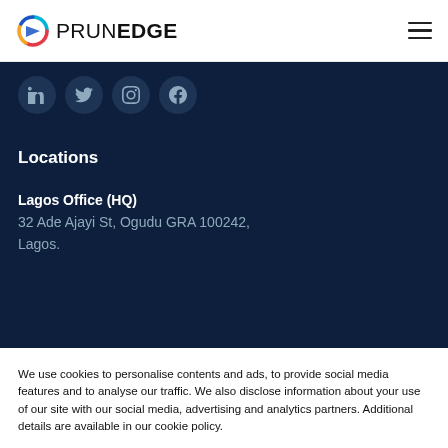PRUNEDGE
[Figure (illustration): Social media icon buttons row: LinkedIn, Twitter, Instagram, Facebook — dark circular icons on navy background]
Locations
Lagos Office (HQ)
32 Ade Ajayi St, Ogudu GRA 100242, Lagos.
We use cookies to personalise contents and ads, to provide social media features and to analyse our traffic. We also disclose information about your use of our site with our social media, advertising and analytics partners. Additional details are available in our cookie policy.
Choose Cookies   Accept Cookies